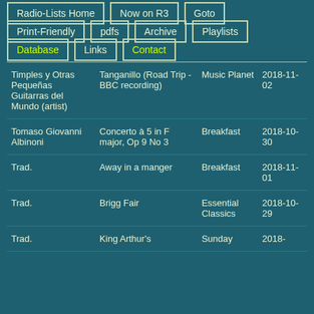Radio-Lists Home
Now on R3
Goto
Print-Friendly
pdfs
Archive
Playlists
Database
Links
Contact
| Artist | Title | Programme | Date |
| --- | --- | --- | --- |
| Timples y Otras Pequeñas Guitarras del Mundo (artist) | Tanganillo (Road Trip - BBC recording) | Music Planet | 2018-11-02 |
| Tomaso Giovanni Albinoni | Concerto à 5 in F major, Op 9 No 3 | Breakfast | 2018-10-30 |
| Trad. | Away in a manger | Breakfast | 2018-11-01 |
| Trad. | Brigg Fair | Essential Classics | 2018-10-29 |
| Trad. | King Arthur's | Sunday | 2018- |